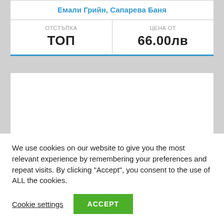| отстъпка | цена от |
| --- | --- |
| ТОП | 66.00лв |
Емали Грийн, Сапарева Баня
[Figure (other): Empty white content area box]
We use cookies on our website to give you the most relevant experience by remembering your preferences and repeat visits. By clicking "Accept", you consent to the use of ALL the cookies.
Cookie settings  ACCEPT